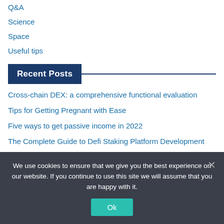Q&A
Science
Space
Useful tips
Recent Posts
Cross-chain DEX: a comprehensive functional evaluation
Tips for Getting Pregnant with Ease
Five ways to get passive income in 2022
The Complete Guide to Defi Staking Platform Development
We use cookies to ensure that we give you the best experience on our website. If you continue to use this site we will assume that you are happy with it.